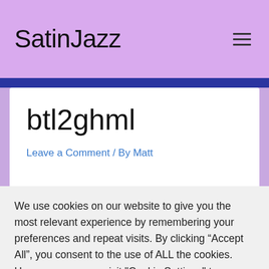SatinJazz
btl2ghml
Leave a Comment / By Matt
We use cookies on our website to give you the most relevant experience by remembering your preferences and repeat visits. By clicking “Accept All”, you consent to the use of ALL the cookies. However, you may visit "Cookie Settings" to provide a controlled consent.